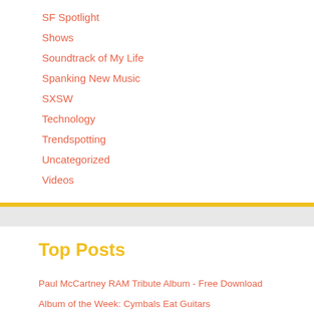SF Spotlight
Shows
Soundtrack of My Life
Spanking New Music
SXSW
Technology
Trendspotting
Uncategorized
Videos
Top Posts
Paul McCartney RAM Tribute Album - Free Download
Album of the Week: Cymbals Eat Guitars
Trendspotting: Cassettes Are The New Vinyl